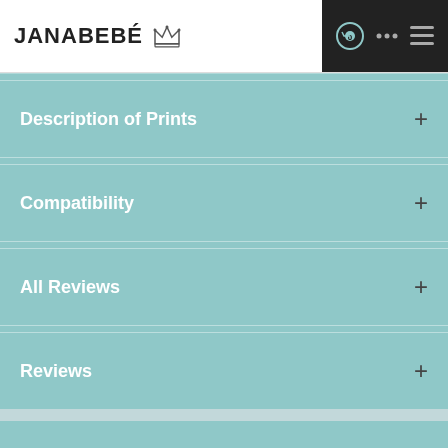JANABEBÉ
Description of Prints
Compatibility
All Reviews
Reviews
[Figure (logo): JANABEBÉ logo with crown icon in white on teal background]
Cart  Loved